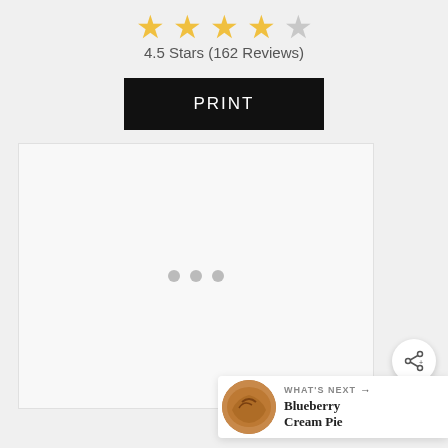[Figure (other): Five-star rating icons: four full gold stars and one partial/grey star]
4.5 Stars (162 Reviews)
PRINT
[Figure (other): Blank image placeholder with three loading dots in the center]
[Figure (other): Share button icon (circular white button with share symbol)]
WHAT'S NEXT → Blueberry Cream Pie